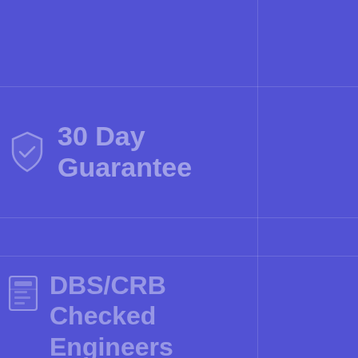[Figure (infographic): Blue background infographic with grid lines dividing page into sections. Top-left section shows a shield icon with text '30 Day Guarantee'. Bottom-left section shows an ID card icon with text 'DBS/CRB Checked Engineers'.]
30 Day Guarantee
DBS/CRB Checked Engineers